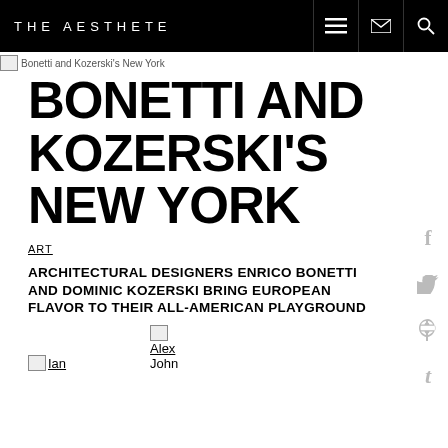THE AESTHETE
[Figure (photo): Bonetti and Kozerski's New York - header image placeholder]
BONETTI AND KOZERSKI'S NEW YORK
ART
ARCHITECTURAL DESIGNERS ENRICO BONETTI AND DOMINIC KOZERSKI BRING EUROPEAN FLAVOR TO THEIR ALL-AMERICAN PLAYGROUND
[Figure (photo): Alex author thumbnail]
[Figure (photo): Ian author thumbnail]
Alex John
Ian